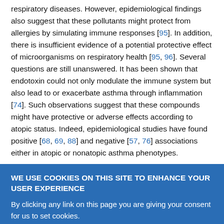respiratory diseases. However, epidemiological findings also suggest that these pollutants might protect from allergies by simulating immune responses [95]. In addition, there is insufficient evidence of a potential protective effect of microorganisms on respiratory health [95, 96]. Several questions are still unanswered. It has been shown that endotoxin could not only modulate the immune system but also lead to or exacerbate asthma through inflammation [74]. Such observations suggest that these compounds might have protective or adverse effects according to atopic status. Indeed, epidemiological studies have found positive [68, 69, 88] and negative [57, 76] associations either in atopic or nonatopic asthma phenotypes.
WE USE COOKIES ON THIS SITE TO ENHANCE YOUR USER EXPERIENCE
By clicking any link on this page you are giving your consent for us to set cookies.
OK, I agree
No, give me more info